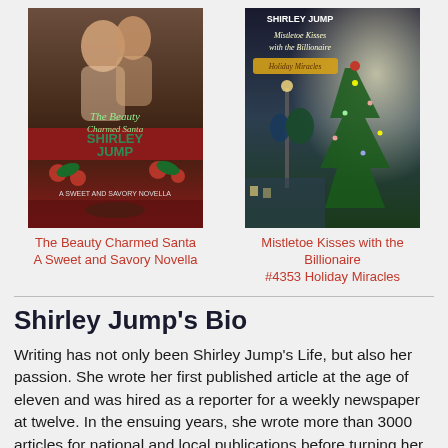[Figure (illustration): Book cover for 'The Beauty Charmed Santa' by Shirley Jump — A Sweet and Savory Novella. Shows a couple kissing with holiday decorations.]
The Beauty Charmed Santa
A Sweet and Savory Novella
[Figure (illustration): Book cover for 'Mistletoe Kisses with the Billionaire' by Shirley Jump — #4353 Holiday Miracles. Shows a couple near a Christmas tree.]
Mistletoe Kisses with the Billionaire
#4353 Holiday Miracles
Shirley Jump's Bio
Writing has not only been Shirley Jump's Life, but also her passion. She wrote her first published article at the age of eleven and was hired as a reporter for a weekly newspaper at twelve. In the ensuing years, she wrote more than 3000 articles for national and local publications before turning her writing skills toward romance novels.